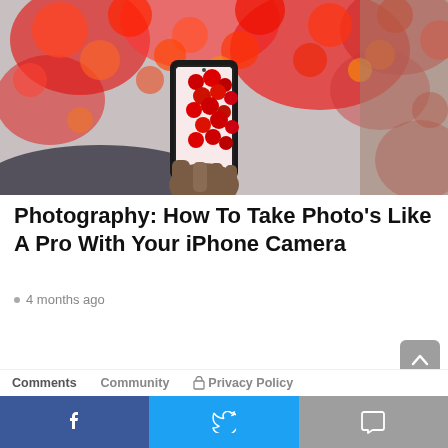[Figure (photo): A hand holding a smartphone photographing red bokeh lights/lanterns, displayed on the phone screen. Background has blurred red and orange circular bokeh effects.]
Photography: How To Take Photo's Like A Pro With Your iPhone Camera
4 months ago
Comments   Community   Privacy Policy